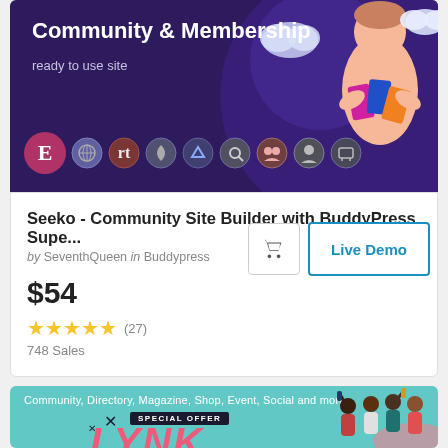[Figure (illustration): WordPress theme product listing banner for Seeko Community & Membership site builder. Dark purple background with illustrated figure holding cards, plugin icons row including Elementor logo.]
Seeko - Community Site Builder with BuddyPress Supe...
by SeventhQueen in Buddypress
$54
★★★★★ (27)
748 Sales
[Figure (illustration): Second product banner with teal background. Text: Community, Directory, Magazine, Shop, Event, Social and more. Special Offer badge and LYNK text in pink. Group of people celebrating on right side.]